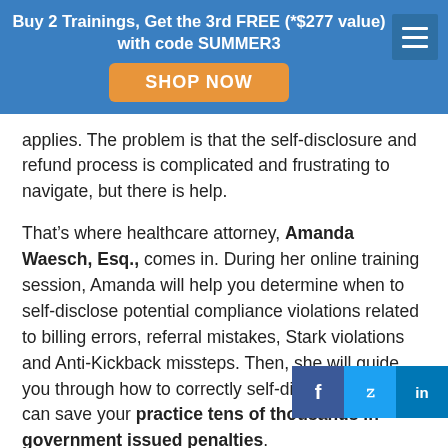Buy 2 Trainings, Get the 3rd FREE (*$277 value) with code SUMMER3
SHOP NOW
applies. The problem is that the self-disclosure and refund process is complicated and frustrating to navigate, but there is help.
That’s where healthcare attorney, Amanda Waesch, Esq., comes in. During her online training session, Amanda will help you determine when to self-disclose potential compliance violations related to billing errors, referral mistakes, Stark violations and Anti-Kickback missteps. Then, she will guide you through how to correctly self-disclose, which can save your practice tens of thousands in government issued penalties.